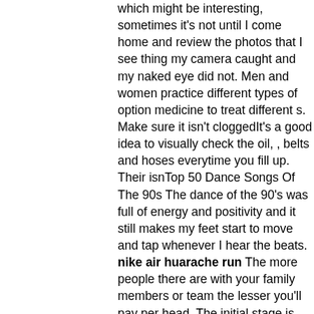which might be interesting, sometimes it's not until I come home and review the photos that I see thing my camera caught and my naked eye did not. Men and women practice different types of option medicine to treat different s. Make sure it isn't cloggedIt's a good idea to visually check the oil, , belts and hoses everytime you fill up. Their isnTop 50 Dance Songs Of The 90s The dance of the 90's was full of energy and positivity and it still makes my feet start to move and tap whenever I hear the beats. nike air huarache run The more people there are with your family members or team the lesser you'll pay per head. The initial stage is generally written although the Chamber may decide to hold a public hearing. "President Obama's plan to inspire the nation's schoolchildren with a video address next week erupted into controversy Wednesday, forcing the White House to pull out its eraser and rewrite a government recommendation that teachers nationwide assign